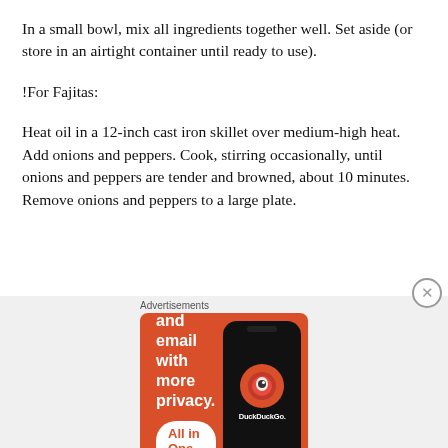In a small bowl, mix all ingredients together well. Set aside (or store in an airtight container until ready to use).
!For Fajitas:
Heat oil in a 12-inch cast iron skillet over medium-high heat. Add onions and peppers. Cook, stirring occasionally, until onions and peppers are tender and browned, about 10 minutes. Remove onions and peppers to a large plate.
[Figure (screenshot): DuckDuckGo advertisement banner with orange background showing 'Search, browse, and email with more privacy. All in One Free App' text and a phone image with DuckDuckGo logo]